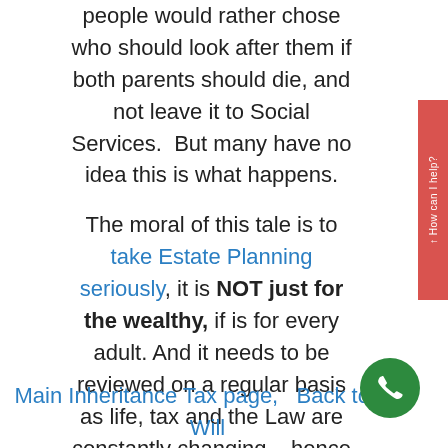people would rather chose who should look after them if both parents should die, and not leave it to Social Services. But many have no idea this is what happens.
The moral of this tale is to take Estate Planning seriously, it is NOT just for the wealthy, if is for every adult. And it needs to be reviewed on a regular basis as life, tax and the Law are constantly changing – hence the reference to the Peace of Mind Service. You might care to look at the information on the Rules of Intestacy in England and Wales before you contact us.
Main Inheritance Tax page,   Back to no Will